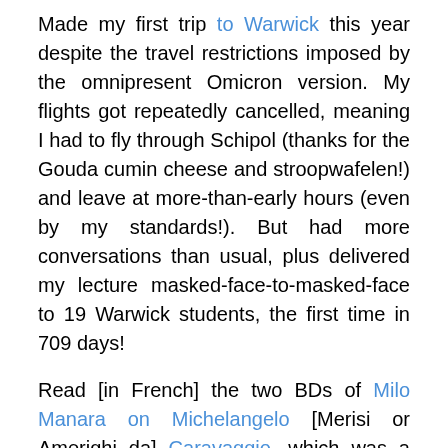Made my first trip to Warwick this year despite the travel restrictions imposed by the omnipresent Omicron version. My flights got repeatedly cancelled, meaning I had to fly through Schipol (thanks for the Gouda cumin cheese and stroopwafelen!) and leave at more-than-early hours (even by my standards!). But had more conversations than usual, plus delivered my lecture masked-face-to-masked-face to 19 Warwick students, the first time in 709 days!
Read [in French] the two BDs of Milo Manara on Michelangelo [Merisi or Amerighi da] Caravaggio, which was a Xmas gift!, with as always great in the large scale and character drawings, if not Caravaggio's chiaroscuro, but less in the scenario, esp. the second part and even more esp. given the agitated life of the artist. And another BD taking place in Cayenne, in 1742, whose drawings also appear in local guides.